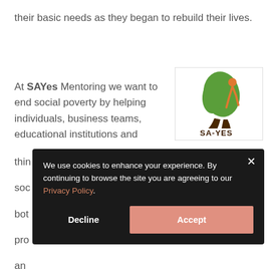their basic needs as they began to rebuild their lives.
[Figure (logo): SA-YES logo: green Africa continent silhouette with orange figure and brown boots, text SA-YES in dark brown]
At SAYes Mentoring we want to end social poverty by helping individuals, business teams, educational institutions and [partially obscured] thin[k about] soc[ial] bot[h] pro[vide] an[d] sup[port] person
We use cookies to enhance your experience. By continuing to browse the site you are agreeing to our Privacy Policy.